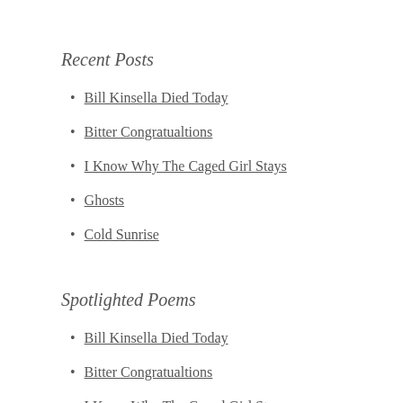Recent Posts
Bill Kinsella Died Today
Bitter Congratualtions
I Know Why The Caged Girl Stays
Ghosts
Cold Sunrise
Spotlighted Poems
Bill Kinsella Died Today
Bitter Congratualtions
I Know Why The Caged Girl Stays
Ghosts
Cold Sunrise